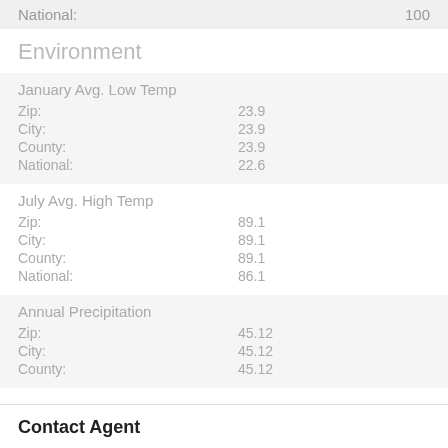|  |  |
| --- | --- |
| National: | 100 |
Environment
| January Avg. Low Temp |  |
| Zip: | 23.9 |
| City: | 23.9 |
| County: | 23.9 |
| National: | 22.6 |
| July Avg. High Temp |  |
| Zip: | 89.1 |
| City: | 89.1 |
| County: | 89.1 |
| National: | 86.1 |
| Annual Precipitation |  |
| Zip: | 45.12 |
| City: | 45.12 |
| County: | 45.12 |
Contact Agent